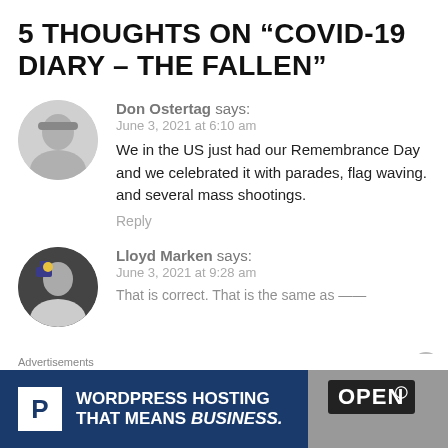5 THOUGHTS ON “COVID-19 DIARY – THE FALLEN”
Don Ostertag says:
June 3, 2021 at 6:10 am
We in the US just had our Remembrance Day and we celebrated it with parades, flag waving. and several mass shootings.
Reply
Lloyd Marken says:
June 3, 2021 at 9:28 am
[Figure (infographic): WordPress Hosting ad banner with blue background, P logo, text WORDPRESS HOSTING THAT MEANS BUSINESS., and OPEN sign photo on right]
Advertisements